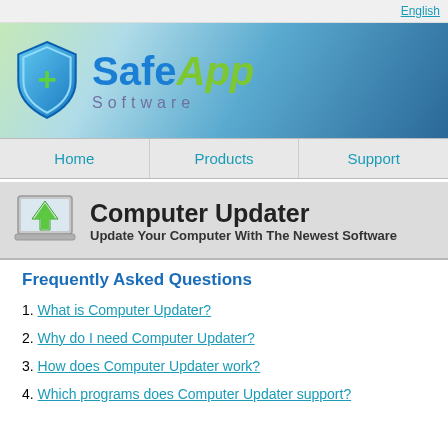English
[Figure (logo): SafeApp Software logo with blue shield icon containing a green plus sign, blue 'Safe' and green italic 'App' text, with 'Software' in grey below]
Home | Products | Support
[Figure (illustration): Laptop computer icon with green upload arrow on screen]
Computer Updater
Update Your Computer With The Newest Software
Frequently Asked Questions
1. What is Computer Updater?
2. Why do I need Computer Updater?
3. How does Computer Updater work?
4. Which programs does Computer Updater support?